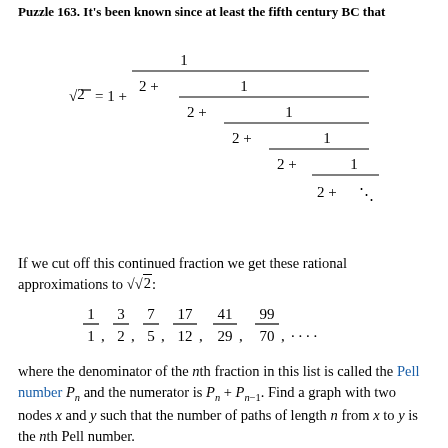Puzzle 163. It's been known since at least the fifth century BC that
If we cut off this continued fraction we get these rational approximations to √2:
where the denominator of the nth fraction in this list is called the Pell number P_n and the numerator is P_n + P_{n-1}. Find a graph with two nodes x and y such that the number of paths of length n from x to y is the nth Pell number.
To read other lectures go here.